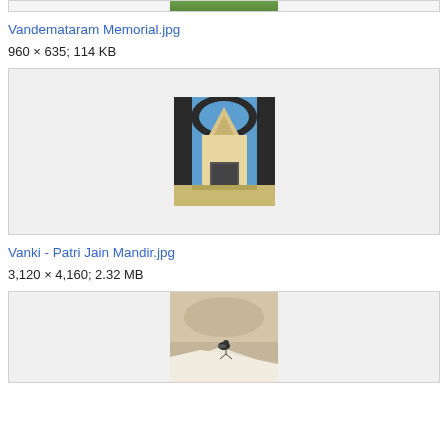[Figure (photo): Top portion of a previous image, partially visible at top of page]
Vandemataram Memorial.jpg
960 × 635; 114 KB
[Figure (photo): Photo of a Jain temple (Vanki - Patri Jain Mandir) viewed through an archway, showing ornate white stone architecture against blue sky]
Vanki - Patri Jain Mandir.jpg
3,120 × 4,160; 2.32 MB
[Figure (photo): Photo of a bird on a white surface, partially visible at bottom of page]